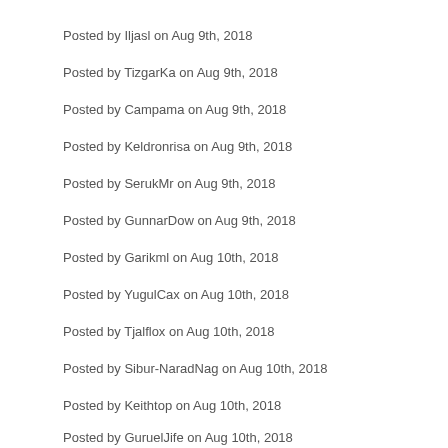Posted by Iljasl on Aug 9th, 2018
Posted by TizgarKa on Aug 9th, 2018
Posted by Campama on Aug 9th, 2018
Posted by Keldronrisa on Aug 9th, 2018
Posted by SerukMr on Aug 9th, 2018
Posted by GunnarDow on Aug 9th, 2018
Posted by Garikml on Aug 10th, 2018
Posted by YugulCax on Aug 10th, 2018
Posted by Tjalflox on Aug 10th, 2018
Posted by Sibur-NaradNag on Aug 10th, 2018
Posted by Keithtop on Aug 10th, 2018
Posted by GuruelJife on Aug 10th, 2018